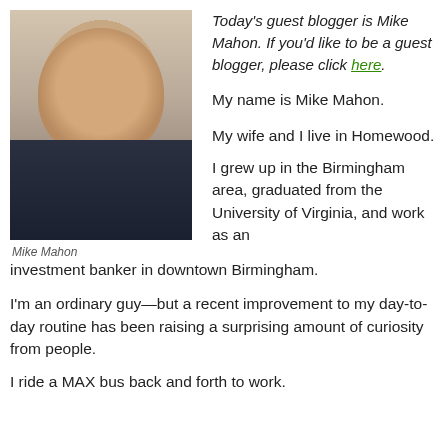[Figure (photo): Photo of Mike Mahon, a man with a beard wearing a dark jacket and white shirt]
Mike Mahon
Today's guest blogger is Mike Mahon. If you'd like to be a guest blogger, please click here.
My name is Mike Mahon.
My wife and I live in Homewood.
I grew up in the Birmingham area, graduated from the University of Virginia, and work as an investment banker in downtown Birmingham.
I'm an ordinary guy—but a recent improvement to my day-to-day routine has been raising a surprising amount of curiosity from people.
I ride a MAX bus back and forth to work.